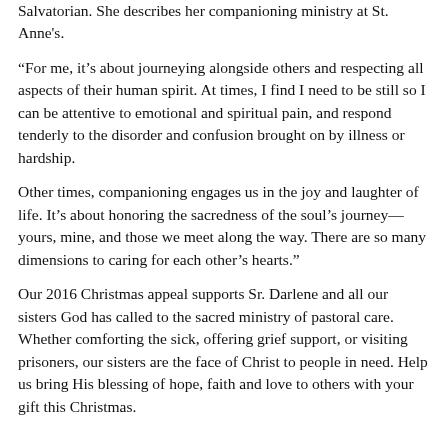Salvatorian. She describes her companioning ministry at St. Anne's.
“For me, it’s about journeying alongside others and respecting all aspects of their human spirit. At times, I find I need to be still so I can be attentive to emotional and spiritual pain, and respond tenderly to the disorder and confusion brought on by illness or hardship.
Other times, companioning engages us in the joy and laughter of life. It’s about honoring the sacredness of the soul’s journey—yours, mine, and those we meet along the way. There are so many dimensions to caring for each other’s hearts.”
Our 2016 Christmas appeal supports Sr. Darlene and all our sisters God has called to the sacred ministry of pastoral care. Whether comforting the sick, offering grief support, or visiting prisoners, our sisters are the face of Christ to people in need. Help us bring His blessing of hope, faith and love to others with your gift this Christmas.